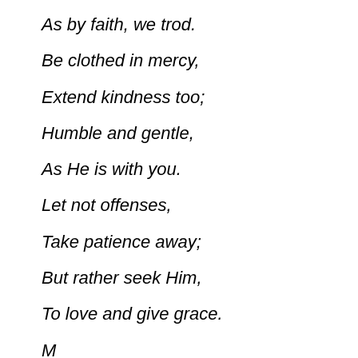As by faith, we trod.
Be clothed in mercy,
Extend kindness too;
Humble and gentle,
As He is with you.
Let not offenses,
Take patience away;
But rather seek Him,
To love and give grace.
M…